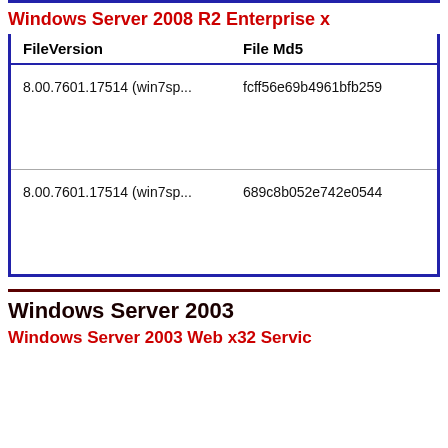Windows Server 2008 R2 Enterprise x...
| FileVersion | File Md5 |
| --- | --- |
| 8.00.7601.17514 (win7sp... | fcff56e69b4961bfb259... |
| 8.00.7601.17514 (win7sp... | 689c8b052e742e0544... |
Windows Server 2003
Windows Server 2003 Web x32 Servic...